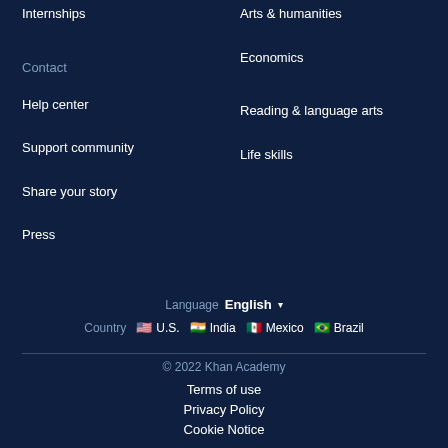Internships
Arts & humanities
Economics
Contact
Reading & language arts
Help center
Life skills
Support community
Share your story
Press
Language  English ▾
Country  🇺🇸 U.S.  🇮🇳 India  🇲🇽 Mexico  🇧🇷 Brazil
© 2022 Khan Academy
Terms of use
Privacy Policy
Cookie Notice